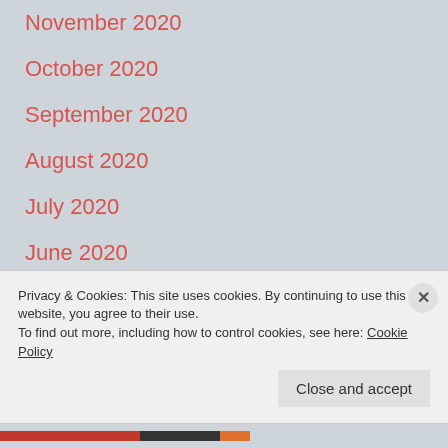November 2020
October 2020
September 2020
August 2020
July 2020
June 2020
May 2020
April 2020
Privacy & Cookies: This site uses cookies. By continuing to use this website, you agree to their use.
To find out more, including how to control cookies, see here: Cookie Policy